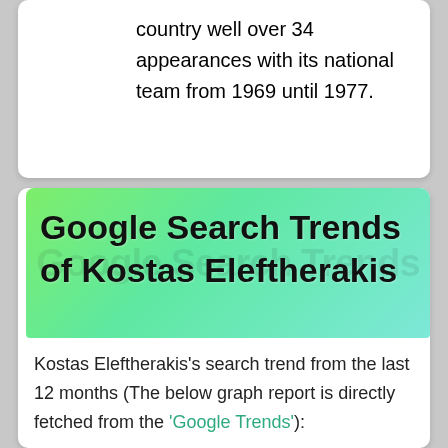country well over 34 appearances with its national team from 1969 until 1977.
Google Search Trends of Kostas Eleftherakis
Kostas Eleftherakis's search trend from the last 12 months (The below graph report is directly fetched from the 'Google Trends'):
[Figure (other): Empty white/light grey box placeholder for an embedded Google Trends graph]